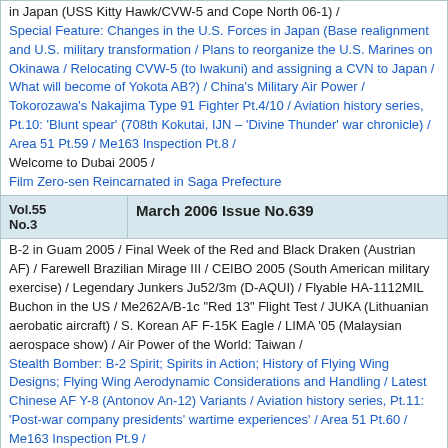in Japan (USS Kitty Hawk/CVW-5 and Cope North 06-1) /
Special Feature: Changes in the U.S. Forces in Japan (Base realignment and U.S. military transformation / Plans to reorganize the U.S. Marines on Okinawa / Relocating CVW-5 (to Iwakuni) and assigning a CVN to Japan / What will become of Yokota AB?) / China's Military Air Power / Tokorozawa's Nakajima Type 91 Fighter Pt.4/10 / Aviation history series, Pt.10: 'Blunt spear' (708th Kokutai, IJN – 'Divine Thunder' war chronicle) / Area 51 Pt.59 / Me163 Inspection Pt.8 /
Welcome to Dubai 2005 /
Film Zero-sen Reincarnated in Saga Prefecture
| Vol.55 No.3 | March 2006 Issue No.639 |
| --- | --- |
B-2 in Guam 2005 / Final Week of the Red and Black Draken (Austrian AF) / Farewell Brazilian Mirage III / CEIBO 2005 (South American military exercise) / Legendary Junkers Ju52/3m (D-AQUI) / Flyable HA-1112MIL Buchon in the US / Me262A/B-1c "Red 13" Flight Test / JUKA (Lithuanian aerobatic aircraft) / S. Korean AF F-15K Eagle / LIMA '05 (Malaysian aerospace show) / Air Power of the World: Taiwan /
Stealth Bomber: B-2 Spirit; Spirits in Action; History of Flying Wing Designs; Flying Wing Aerodynamic Considerations and Handling / Latest Chinese AF Y-8 (Antonov An-12) Variants / Aviation history series, Pt.11: 'Post-war company presidents' wartime experiences' / Area 51 Pt.60 / Me163 Inspection Pt.9 / SDF Airshow Reports: Nyutabaru, Naha
| Vol.55 No.4 | April 2006 Issue No.640 |
| --- | --- |
French Navy Aircraft Carrier Charles de Gaulle / Indian Navy Aircraft Carrier